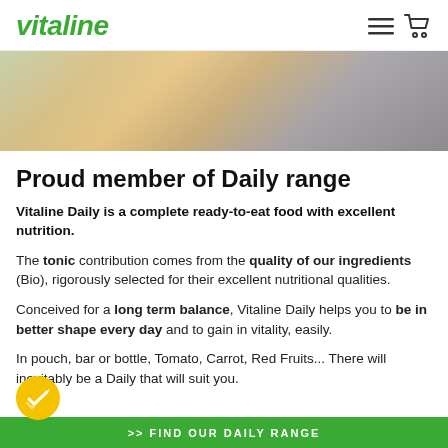vitaline
[Figure (photo): Hero image showing Vitaline Daily food products including pouches, bars, and bottles with various fruits and vegetables on a table]
Proud member of Daily range
Vitaline Daily is a complete ready-to-eat food with excellent nutrition.
The tonic contribution comes from the quality of our ingredients (Bio), rigorously selected for their excellent nutritional qualities.
Conceived for a long term balance, Vitaline Daily helps you to be in better shape every day and to gain in vitality, easily.
In pouch, bar or bottle, Tomato, Carrot, Red Fruits... There will inevitably be a Daily that will suit you.
>> FIND OUR DAILY RANGE